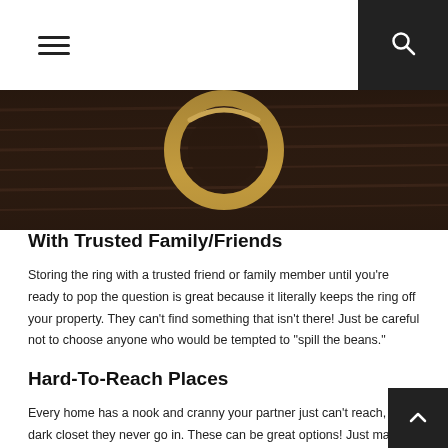Navigation menu and search button
[Figure (photo): Close-up photograph of a gold engagement ring on a dark wooden surface]
With Trusted Family/Friends
Storing the ring with a trusted friend or family member until you're ready to pop the question is great because it literally keeps the ring off your property. They can't find something that isn't there! Just be careful not to choose anyone who would be tempted to "spill the beans."
Hard-To-Reach Places
Every home has a nook and cranny your partner just can't reach, or a dark closet they never go in. These can be great options! Just make sure there is NOTHING in the…